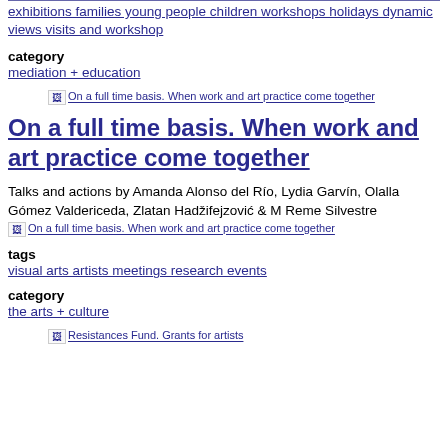exhibitions families young people children workshops holidays dynamic views visits and workshop
category
mediation + education
[Figure (other): Broken image placeholder linking to 'On a full time basis. When work and art practice come together']
On a full time basis. When work and art practice come together
Talks and actions by Amanda Alonso del Río, Lydia Garvín, Olalla Gómez Valdericeda, Zlatan Hadžifejzović & M Reme Silvestre
[Figure (other): Broken image placeholder linking to 'On a full time basis. When work and art practice come together']
tags
visual arts artists meetings research events
category
the arts + culture
[Figure (other): Broken image placeholder linking to 'Resistances Fund. Grants for artists']